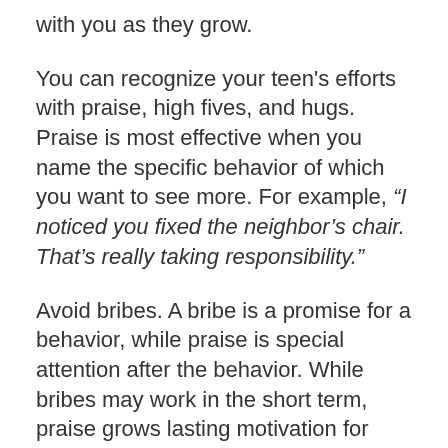with you as they grow.
You can recognize your teen's efforts with praise, high fives, and hugs. Praise is most effective when you name the specific behavior of which you want to see more. For example, “I noticed you fixed the neighbor’s chair. That’s really taking responsibility.”
Avoid bribes. A bribe is a promise for a behavior, while praise is special attention after the behavior. While bribes may work in the short term, praise grows lasting motivation for good behavior and effort. For example, instead of saying, “If you don’t argue with your sister, you’ll get extra